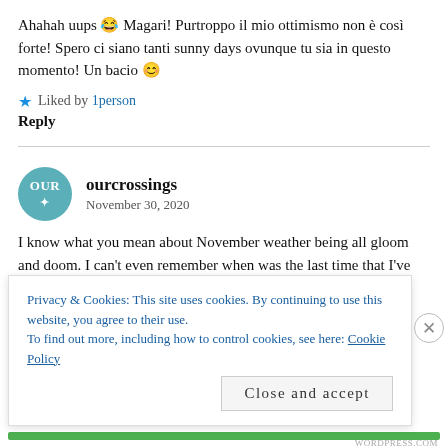Ahahah uups 😂 Magari! Purtroppo il mio ottimismo non è così forte! Spero ci siano tanti sunny days ovunque tu sia in questo momento! Un bacio 😊
★ Liked by 1person
Reply
ourcrossings
November 30, 2020
I know what you mean about November weather being all gloom and doom. I can't even remember when was the last time that I've seen blue skies; t's been raining non-stop. That's why I am so excited to s... t... I...
Privacy & Cookies: This site uses cookies. By continuing to use this website, you agree to their use.
To find out more, including how to control cookies, see here: Cookie Policy
Close and accept